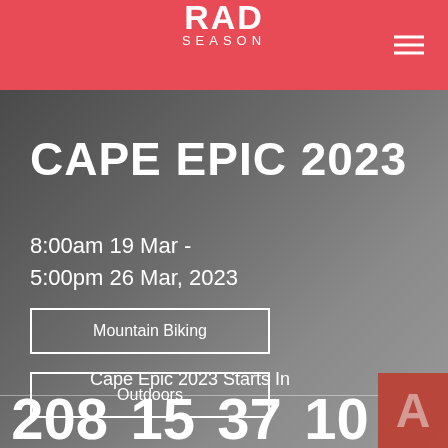RAD SEASON
CAPE EPIC 2023
8:00am 19 Mar -
5:00pm 26 Mar, 2023
Mountain Biking
Outdoors
Cape Epic 2023 Starts In
208   15   37   10